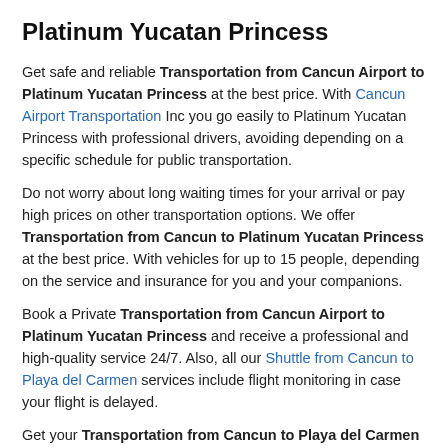Platinum Yucatan Princess
Get safe and reliable Transportation from Cancun Airport to Platinum Yucatan Princess at the best price. With Cancun Airport Transportation Inc you go easily to Platinum Yucatan Princess with professional drivers, avoiding depending on a specific schedule for public transportation.
Do not worry about long waiting times for your arrival or pay high prices on other transportation options. We offer Transportation from Cancun to Platinum Yucatan Princess at the best price. With vehicles for up to 15 people, depending on the service and insurance for you and your companions.
Book a Private Transportation from Cancun Airport to Platinum Yucatan Princess and receive a professional and high-quality service 24/7. Also, all our Shuttle from Cancun to Playa del Carmen services include flight monitoring in case your flight is delayed.
Get your Transportation from Cancun to Playa del Carmen from $45.00 USD and travel comfortably and safely to the main hotels.